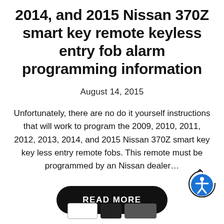2014, and 2015 Nissan 370Z smart key remote keyless entry fob alarm programming information
August 14, 2015
Unfortunately, there are no do it yourself instructions that will work to program the 2009, 2010, 2011, 2012, 2013, 2014, and 2015 Nissan 370Z smart key key less entry remote fobs. This remote must be programmed by an Nissan dealer...
[Figure (other): READ MORE button — black pill-shaped button with white uppercase text]
[Figure (other): Accessibility icon — circular blue icon with person symbol and arrow, with outer ring]